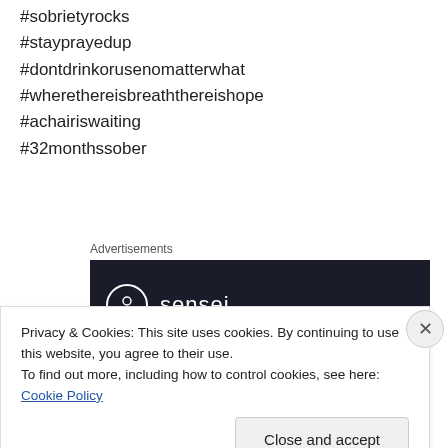#sobrietyrocks
#stayprayedup
#dontdrinkorusenomatterwhat
#wherethereisbreaththereishope
#achairiswaiting
#32monthssober
[Figure (logo): Sensei brand advertisement — dark background with white circle logo and 'sensei' wordmark]
Privacy & Cookies: This site uses cookies. By continuing to use this website, you agree to their use.
To find out more, including how to control cookies, see here: Cookie Policy
Close and accept